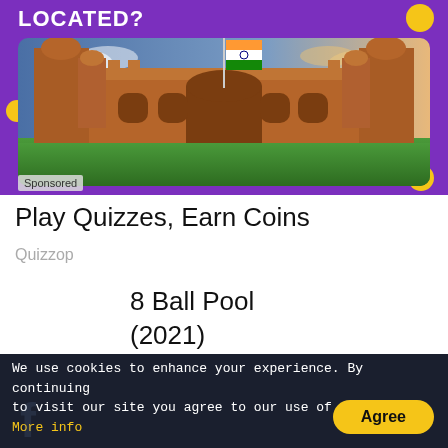[Figure (photo): Advertisement banner with purple background showing 'LOCATED?' text and an image of the Red Fort (Lal Qila) in India with Indian flag flying, golden coin decorations in corners, and 'Sponsored' label.]
Play Quizzes, Earn Coins
Quizzop
8 Ball Pool
(2021)
Gamezop
Sponsored
We use cookies to enhance your experience. By continuing to visit our site you agree to our use of cookies. More info